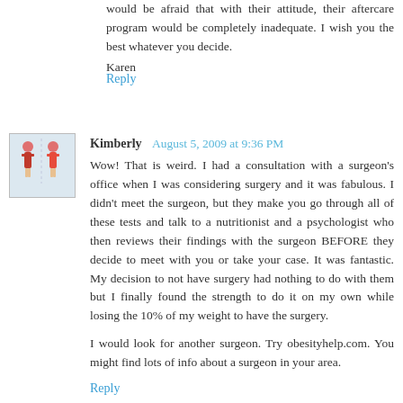would be afraid that with their attitude, their aftercare program would be completely inadequate. I wish you the best whatever you decide.
Karen
Reply
Kimberly August 5, 2009 at 9:36 PM
Wow! That is weird. I had a consultation with a surgeon's office when I was considering surgery and it was fabulous. I didn't meet the surgeon, but they make you go through all of these tests and talk to a nutritionist and a psychologist who then reviews their findings with the surgeon BEFORE they decide to meet with you or take your case. It was fantastic. My decision to not have surgery had nothing to do with them but I finally found the strength to do it on my own while losing the 10% of my weight to have the surgery.
I would look for another surgeon. Try obesityhelp.com. You might find lots of info about a surgeon in your area.
Reply